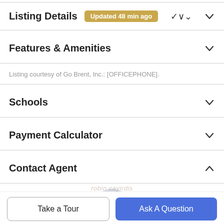Listing Details  Updated 48 min ago
Features & Amenities
Listing courtesy of Go Brent, Inc.: [OFFICEPHONE].
Schools
Payment Calculator
Contact Agent
[Figure (photo): Circular profile photo of a blonde woman (real estate agent), partially visible at bottom of Contact Agent section]
Take a Tour
Ask A Question